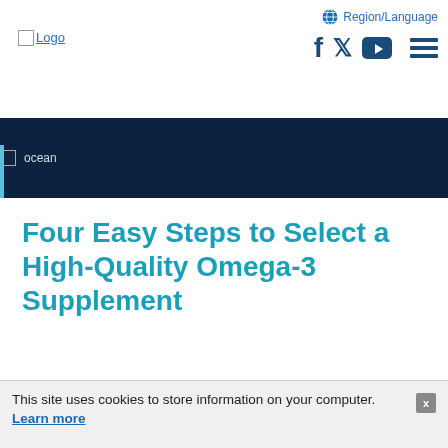Logo | Region/Language | Social icons | Menu
[Figure (photo): Ocean image banner with dark navy background and alt text 'ocean']
Four Easy Steps to Select a High-Quality Omega-3 Supplement
MEG-3 Editors
26 March 2019
This site uses cookies to store information on your computer. Learn more